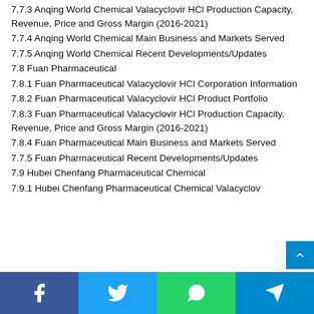7.7.3 Anqing World Chemical Valacyclovir HCl Production Capacity, Revenue, Price and Gross Margin (2016-2021)
7.7.4 Anqing World Chemical Main Business and Markets Served
7.7.5 Anqing World Chemical Recent Developments/Updates
7.8 Fuan Pharmaceutical
7.8.1 Fuan Pharmaceutical Valacyclovir HCl Corporation Information
7.8.2 Fuan Pharmaceutical Valacyclovir HCl Product Portfolio
7.8.3 Fuan Pharmaceutical Valacyclovir HCl Production Capacity, Revenue, Price and Gross Margin (2016-2021)
7.8.4 Fuan Pharmaceutical Main Business and Markets Served
7.7.5 Fuan Pharmaceutical Recent Developments/Updates
7.9 Hubei Chenfang Pharmaceutical Chemical
7.9.1 Hubei Chenfang Pharmaceutical Chemical Valacyclov...
Facebook | Twitter | WhatsApp | Telegram